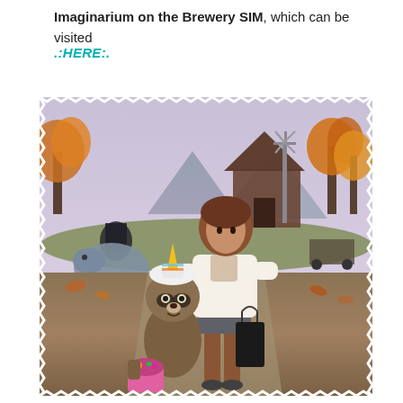Imaginarium on the Brewery SIM, which can be visited
.:HERE:.
[Figure (photo): A virtual world (Second Life style) scene showing a woman in a white sweater and short skirt carrying a black shopping bag, walking alongside a raccoon character wearing a unicorn hat and holding a pink candy pail. Autumn farm setting with trees, a wooden barn, windmill tower, and a cloaked figure in the background.]